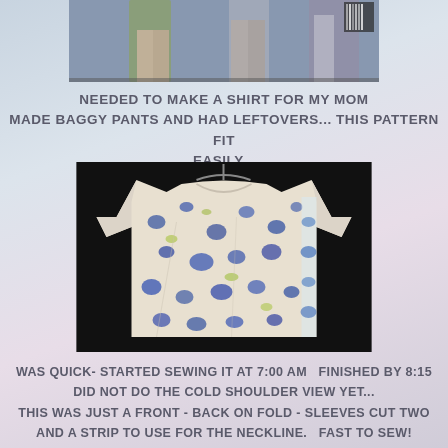[Figure (photo): Top portion of photo showing two people from waist down wearing pants, cropped at top of page]
NEEDED TO MAKE A SHIRT FOR MY MOM
MADE BAGGY PANTS AND HAD LEFTOVERS... THIS PATTERN FIT EASILY...
[Figure (photo): Floral patterned short-sleeve shirt hanging on a hanger against a dark background, white fabric with blue and green floral print]
WAS QUICK- STARTED SEWING IT AT 7:00 AM  FINISHED BY 8:15
DID NOT DO THE COLD SHOULDER VIEW YET...
THIS WAS JUST A FRONT - BACK ON FOLD - SLEEVES CUT TWO
AND A STRIP TO USE FOR THE NECKLINE.  FAST TO SEW!